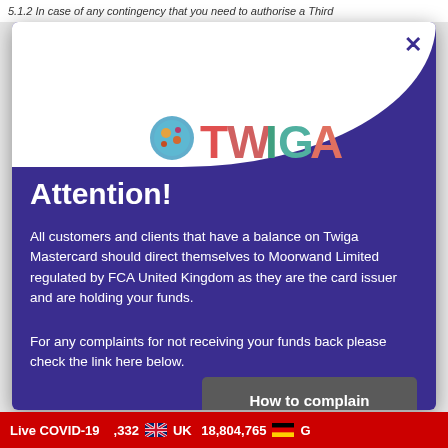5.1.2 In case of any contingency that you need to authorise a Third
[Figure (screenshot): Twiga Mastercard attention modal popup with purple background, Twiga 3D logo, and attention notice about Moorwand Limited]
Attention!
All customers and clients that have a balance on Twiga Mastercard should direct themselves to Moorwand Limited regulated by FCA United Kingdom as they are the card issuer and are holding your funds.
For any complaints for not receiving your funds back please check the link here below.
How to complain
2021 (C) All rights reserved.
Live COVID-19  ,332   UK  18,804,765   G